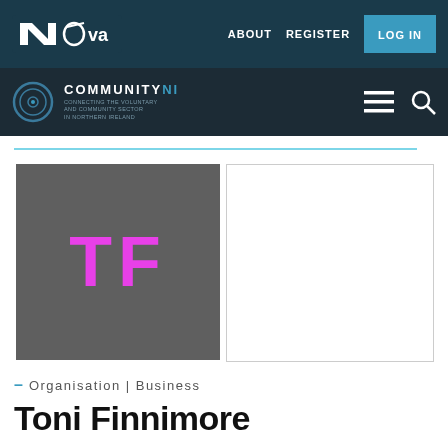ABOUT  REGISTER  LOG IN
COMMUNITYNI
[Figure (logo): TF initials logo on dark grey background with magenta letters TF]
– Organisation | Business
Toni Finnimore